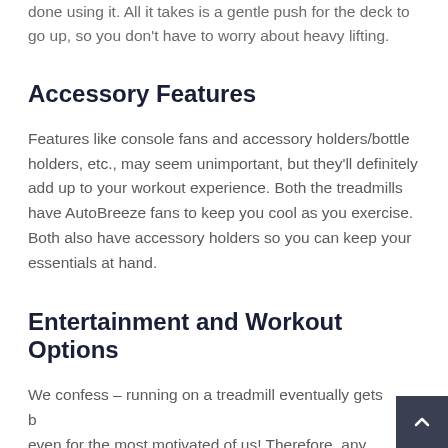done using it. All it takes is a gentle push for the deck to go up, so you don't have to worry about heavy lifting.
Accessory Features
Features like console fans and accessory holders/bottle holders, etc., may seem unimportant, but they'll definitely add up to your workout experience. Both the treadmills have AutoBreeze fans to keep you cool as you exercise. Both also have accessory holders so you can keep your essentials at hand.
Entertainment and Workout Options
We confess – running on a treadmill eventually gets boring, even for the most motivated of us! Therefore, any features